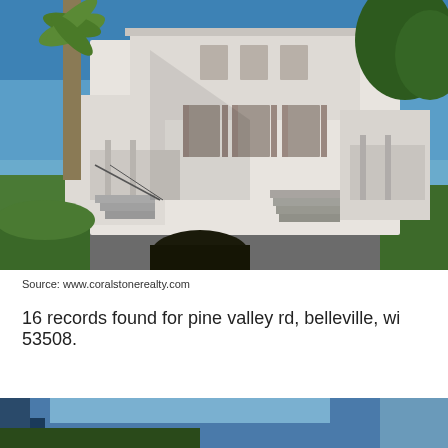[Figure (photo): Exterior photo of a large white two-story colonial-style house with shuttered windows, wrap-around porches, staircases, palm trees and green foliage in background, under a blue sky.]
Source: www.coralstonerealty.com
16 records found for pine valley rd, belleville, wi 53508.
[Figure (photo): Partial view of another property photo at the bottom of the page, showing a blue-toned exterior scene.]